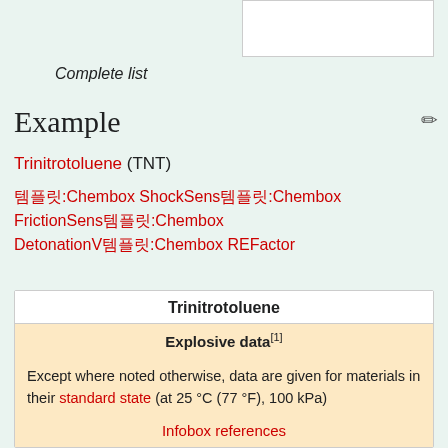[Figure (other): White box placeholder image at the top right]
Complete list
Example
Trinitrotoluene (TNT)
Template:Chembox ShockSens Template:Chembox FrictionSens Template:Chembox DetonationV Template:Chembox REFactor
| Trinitrotoluene |
| --- |
| Explosive data[1] |
| Except where noted otherwise, data are given for materials in their standard state (at 25 °C (77 °F), 100 kPa) |
| Infobox references |